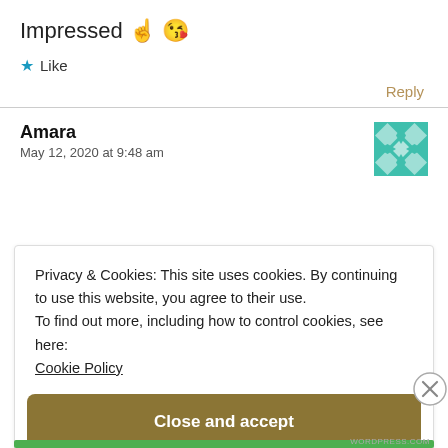Impressed 👆 😘
★ Like
Reply
Amara
May 12, 2020 at 9:48 am
Privacy & Cookies: This site uses cookies. By continuing to use this website, you agree to their use.
To find out more, including how to control cookies, see here:
Cookie Policy
Close and accept